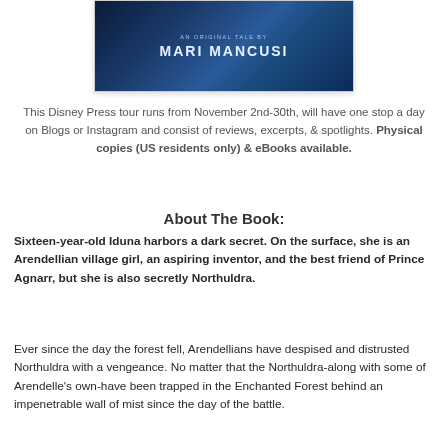[Figure (illustration): Book cover with dark blue gradient background showing 'AN ORIGINAL TALE BY MARI MANCUSI' text in white/light blue]
This Disney Press tour runs from November 2nd-30th, will have one stop a day on Blogs or Instagram and consist of reviews, excerpts, & spotlights. Physical copies (US residents only) & eBooks available.
About The Book:
Sixteen-year-old Iduna harbors a dark secret. On the surface, she is an Arendellian village girl, an aspiring inventor, and the best friend of Prince Agnarr, but she is also secretly Northuldra.
Ever since the day the forest fell, Arendellians have despised and distrusted Northuldra with a vengeance. No matter that the Northuldra-along with some of Arendelle's own-have been trapped in the Enchanted Forest behind an impenetrable wall of mist since the day of the battle.